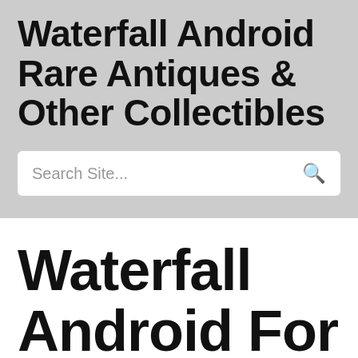Waterfall Android Rare Antiques & Other Collectibles
Search Site...
Waterfall Android For